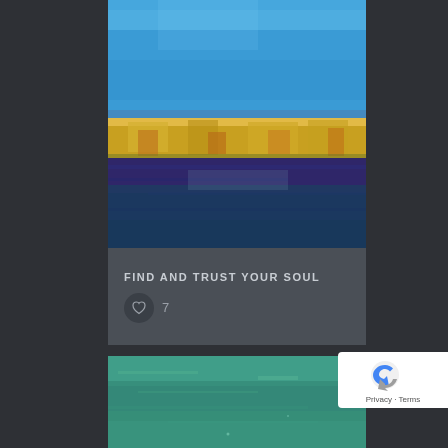[Figure (illustration): Abstract landscape painting with blue sky, yellow/golden horizontal band in the middle, and deep blue/purple lower section resembling water or earth]
FIND AND TRUST YOUR SOUL
♡ 7
[Figure (illustration): Partial view of a second abstract painting with teal/green-blue texture]
[Figure (logo): Google reCAPTCHA badge with logo and Privacy - Terms links]